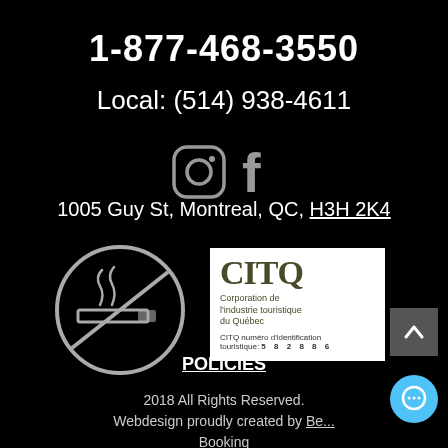1-877-468-3550
Local: (514) 938-4611
[Figure (illustration): Instagram and Facebook social media icons in grey on black background]
1005 Guy St, Montreal, QC, H3H 2K4
[Figure (illustration): No smoking circle icon in white outline on black background]
[Figure (logo): CITQ - Corporation de l'industrie touristique du Québec logo with identification number 5 8 2 8 8 6]
POLICIES
2018 All Rights Reserved. Webdesign proudly created by Be... Booking